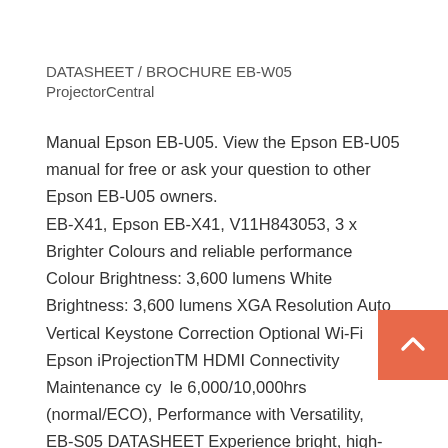DATASHEET / BROCHURE EB-W05 ProjectorCentral
Manual Epson EB-U05. View the Epson EB-U05 manual for free or ask your question to other Epson EB-U05 owners.
EB-X41, Epson EB-X41, V11H843053, 3 x Brighter Colours and reliable performance Colour Brightness: 3,600 lumens White Brightness: 3,600 lumens XGA Resolution Auto Vertical Keystone Correction Optional Wi-Fi Epson iProjectionTM HDMI Connectivity Maintenance cycle 6,000/10,000hrs (normal/ECO), Performance with Versatility,
EB-S05 DATASHEET Experience bright, high-quality images in the home or office with this easy-to-use SVGA